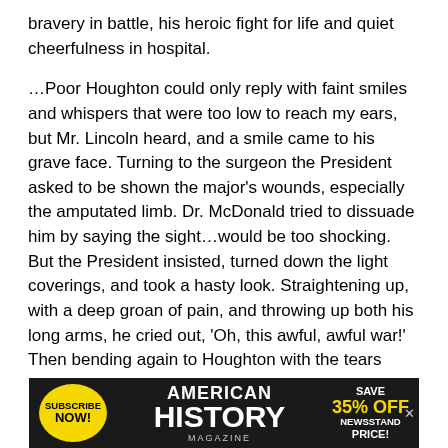bravery in battle, his heroic fight for life and quiet cheerfulness in hospital.
…Poor Houghton could only reply with faint smiles and whispers that were too low to reach my ears, but Mr. Lincoln heard, and a smile came to his grave face. Turning to the surgeon the President asked to be shown the major's wounds, especially the amputated limb. Dr. McDonald tried to dissuade him by saying the sight…would be too shocking. But the President insisted, turned down the light coverings, and took a hasty look. Straightening up, with a deep groan of pain, and throwing up both his long arms, he cried out, 'Oh, this awful, awful war!' Then bending again to Houghton with the tears cutting wide furrows down his dust-stained cheeks, and
[Figure (other): Advertisement banner for American History Magazine: Subscribe Now! Save 35% Off Newsstand Price!]